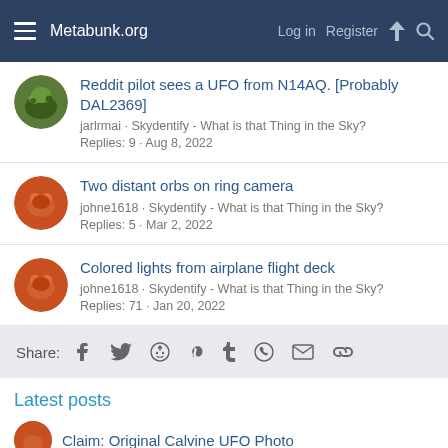Metabunk.org  Log in  Register
Reddit pilot sees a UFO from N14AQ. [Probably DAL2369]
jarlrmai · Skydentify - What is that Thing in the Sky?
Replies: 9 · Aug 8, 2022
Two distant orbs on ring camera
johne1618 · Skydentify - What is that Thing in the Sky?
Replies: 5 · Mar 2, 2022
Colored lights from airplane flight deck
johne1618 · Skydentify - What is that Thing in the Sky?
Replies: 71 · Jan 20, 2022
Share:
Latest posts
Claim: Original Calvine UFO Photo